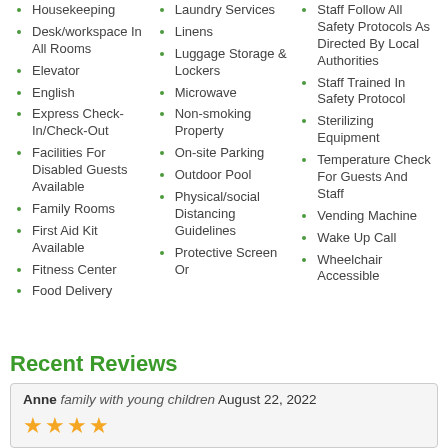Housekeeping
Desk/workspace In All Rooms
Elevator
English
Express Check-In/Check-Out
Facilities For Disabled Guests Available
Family Rooms
First Aid Kit Available
Fitness Center
Food Delivery
Laundry Services
Linens
Luggage Storage & Lockers
Microwave
Non-smoking Property
On-site Parking
Outdoor Pool
Physical/social Distancing Guidelines
Protective Screen Or
Staff Follow All Safety Protocols As Directed By Local Authorities
Staff Trained In Safety Protocol
Sterilizing Equipment
Temperature Check For Guests And Staff
Vending Machine
Wake Up Call
Wheelchair Accessible
Recent Reviews
Anne  family with young children  August 22, 2022